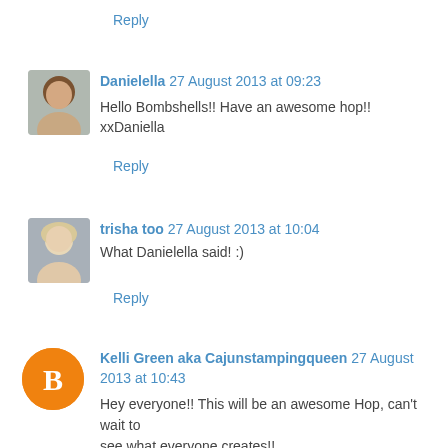Reply
[Figure (photo): Avatar photo of Danielella, a woman with brown hair]
Danielella 27 August 2013 at 09:23
Hello Bombshells!! Have an awesome hop!! xxDaniella
Reply
[Figure (photo): Avatar photo of trisha too, a woman with blonde hair]
trisha too 27 August 2013 at 10:04
What Danielella said! :)
Reply
[Figure (logo): Blogger 'B' logo icon, orange circle with white B]
Kelli Green aka Cajunstampingqueen 27 August 2013 at 10:43
Hey everyone!! This will be an awesome Hop, can't wait to see what everyone creates!!